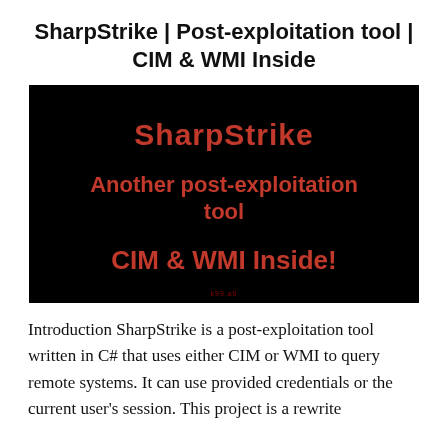SharpStrike | Post-exploitation tool | CIM & WMI Inside
[Figure (screenshot): Black background image with red bold text reading 'SharpStrike' at top, 'Another post-exploitation tool' in middle, and 'CIM & WMI Inside!' at bottom. Small watermark text at the bottom center.]
Introduction SharpStrike is a post-exploitation tool written in C# that uses either CIM or WMI to query remote systems. It can use provided credentials or the current user's session. This project is a rewrite